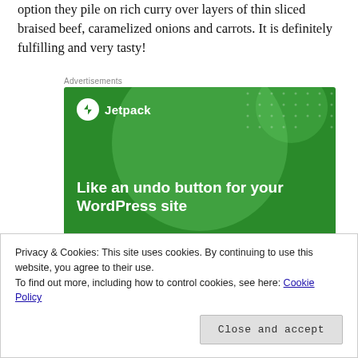option they pile on rich curry over layers of thin sliced braised beef, caramelized onions and carrots. It is definitely fulfilling and very tasty!
[Figure (screenshot): Jetpack advertisement banner with green background, large decorative circles, Jetpack logo (lightning bolt icon in white circle) and tagline 'Like an undo button for your WordPress site' in bold white text. Above the banner is a small 'Advertisements' label.]
Privacy & Cookies: This site uses cookies. By continuing to use this website, you agree to their use.
To find out more, including how to control cookies, see here: Cookie Policy